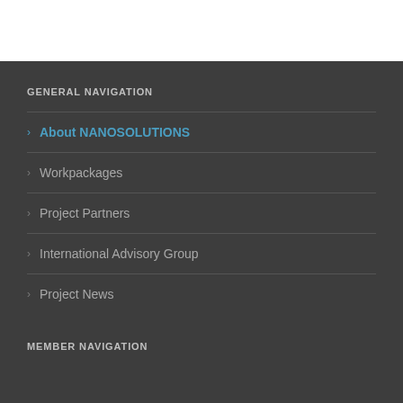GENERAL NAVIGATION
About NANOSOLUTIONS
Workpackages
Project Partners
International Advisory Group
Project News
MEMBER NAVIGATION